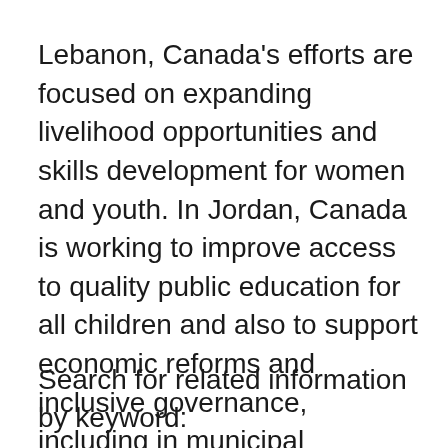Lebanon, Canada's efforts are focused on expanding livelihood opportunities and skills development for women and youth. In Jordan, Canada is working to improve access to quality public education for all children and also to support economic reforms and inclusive governance, including in municipal services. In Syria, programming supported by Canada aims to enhance gender equality by supporting women's economic empowerment and local women's organizations.
Search for related information by keyword: